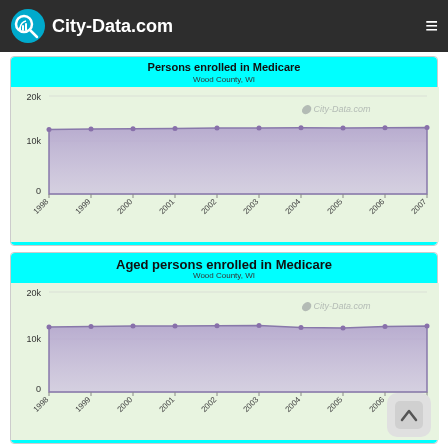City-Data.com
[Figure (area-chart): Persons enrolled in Medicare]
[Figure (area-chart): Aged persons enrolled in Medicare]